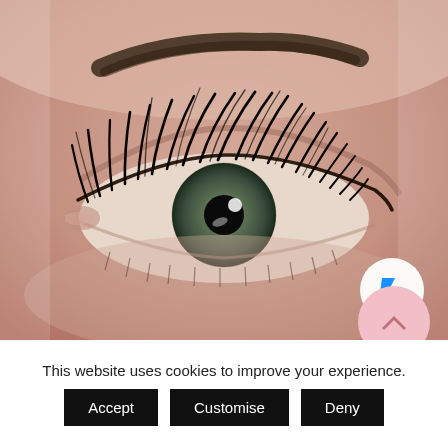[Figure (photo): Close-up photograph of a human eye with dramatic eyelash extensions. The eye has a green/hazel iris and is surrounded by skin showing the eyebrow above and under-eye area below. A Facebook Messenger chat button (white circle with lightning bolt icon) is visible in the lower right of the photo. A pink scroll-up button partially overlaps the bottom right.]
This website uses cookies to improve your experience.
Accept
Customise
Deny